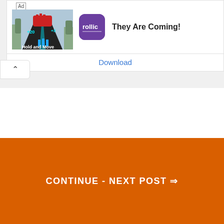[Figure (screenshot): Advertisement banner for 'Hold and Move' mobile game by Rollic. Shows game screenshot with colorful lane runner game, Rollic app icon (purple square with white 'rollic' text), title 'They Are Coming!' and a blue 'Download' link.]
CONTINUE - NEXT POST ⇒